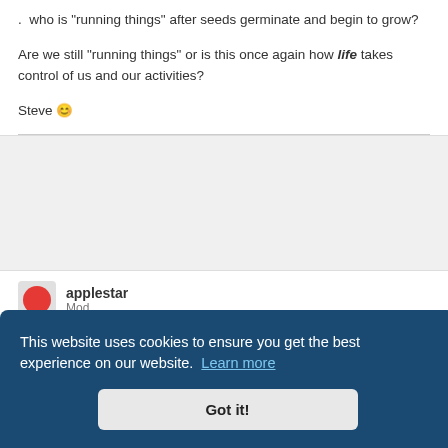. who is "running things" after seeds germinate and begin to grow?

Are we still "running things" or is this once again how life takes control of us and our activities?

Steve 🙂
applestar
Mod
for
We are at their beck and call 🙂
This website uses cookies to ensure you get the best experience on our website. Learn more
Got it!